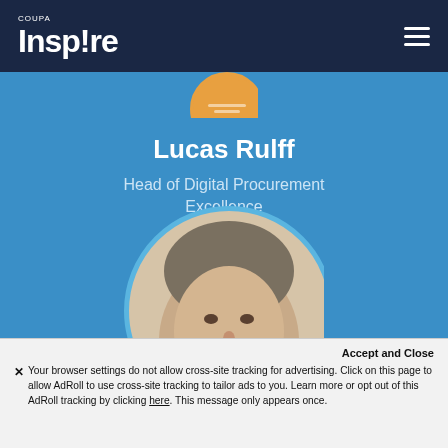COUPA Insp!re
[Figure (photo): Partial circular profile photo at top, orange border]
Lucas Rulff
Head of Digital Procurement Excellence
[Figure (logo): Maersk logo: white rounded square with blue star asterisk icon and MAERSK text in white]
[Figure (photo): Circular portrait photo of Lucas Rulff, middle-aged man with gray-brown hair, partial view cropped at bottom]
Accept and Close
Your browser settings do not allow cross-site tracking for advertising. Click on this page to allow AdRoll to use cross-site tracking to tailor ads to you. Learn more or opt out of this AdRoll tracking by clicking here. This message only appears once.